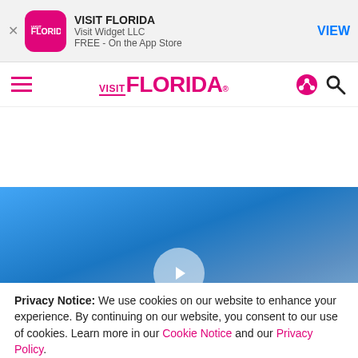[Figure (screenshot): App Store banner for VISIT FLORIDA app by Visit Widget LLC, free on the App Store, with a pink app icon and a VIEW button]
[Figure (logo): VISIT FLORIDA navigation bar logo in pink/magenta with hamburger menu, share icon, and search icon]
[Figure (photo): Video thumbnail showing a blue sky, with a semi-transparent white play button circle in the center]
Privacy Notice: We use cookies on our website to enhance your experience. By continuing on our website, you consent to our use of cookies. Learn more in our Cookie Notice and our Privacy Policy.